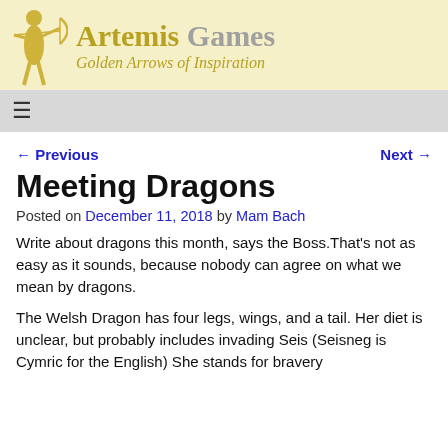Artemis Games — Golden Arrows of Inspiration
← Previous    Next →
Meeting Dragons
Posted on December 11, 2018 by Mam Bach
Write about dragons this month, says the Boss.That's not as easy as it sounds, because nobody can agree on what we mean by dragons.
The Welsh Dragon has four legs, wings, and a tail. Her diet is unclear, but probably includes invading Seis (Seisneg is Cymric for the English) She stands for bravery